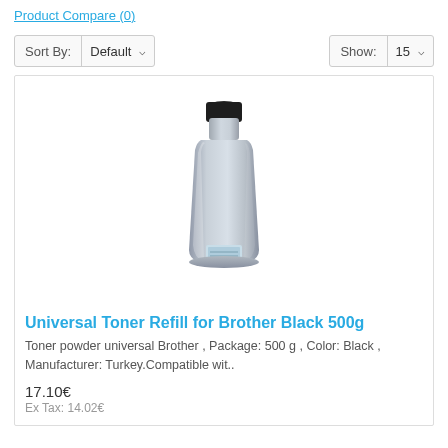Product Compare (0)
Sort By: Default    Show: 15
[Figure (photo): Silver/grey toner refill bottle with black cap and small label near bottom]
Universal Toner Refill for Brother Black 500g
Toner powder universal Brother , Package: 500 g , Color: Black , Manufacturer: Turkey.Compatible wit..
17.10€
Ex Tax: 14.02€